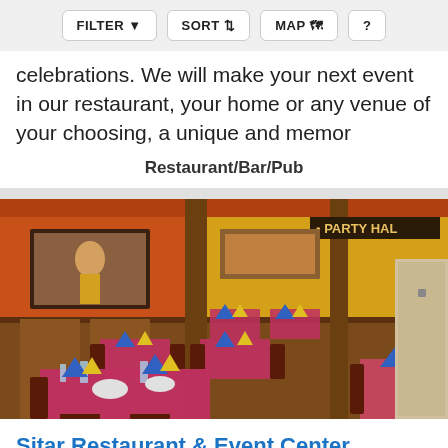FILTER  SORT  MAP  ?
celebrations. We will make your next event in our restaurant, your home or any venue of your choosing, a unique and memor
Restaurant/Bar/Pub
[Figure (photo): Interior photo of Sitar Restaurant & Event Center showing dining room with red tablecloths, blue and yellow napkins, dark wood chairs, orange and yellow walls with decorative artwork, and a 'PARTY HAL' sign visible in the upper right.]
Sitar Restaurant & Event Center
5.9 miles from Woodbridge, CT